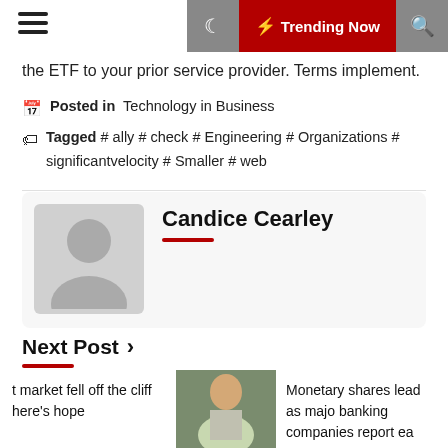Trending Now
the ETF to your prior service provider. Terms implement.
Posted in  Technology in Business
Tagged # ally # check # Engineering # Organizations # significantvelocity # Smaller # web
Candice Cearley
Next Post ›
Stocks
t market fell off the cliff here's hope
Monetary shares lead as majo banking companies report ea